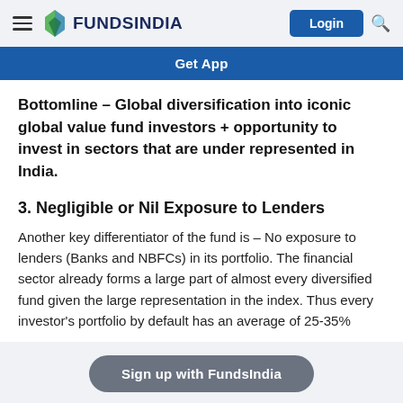FundsIndia — Login
Get App
Bottomline – Global diversification into iconic global value fund investors + opportunity to invest in sectors that are under represented in India.
3. Negligible or Nil Exposure to Lenders
Another key differentiator of the fund is – No exposure to lenders (Banks and NBFCs) in its portfolio. The financial sector already forms a large part of almost every diversified fund given the large representation in the index. Thus every investor's portfolio by default has an average of 25-35%
Sign up with FundsIndia